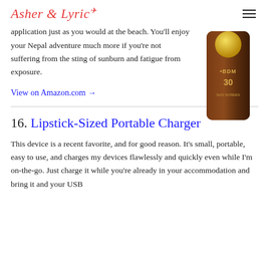Asher & Lyric
application just as you would at the beach. You'll enjoy your Nepal adventure much more if you're not suffering from the sting of sunburn and fatigue from exposure.
[Figure (photo): Sunscreen bottle with brown/dark packaging and gold cap, appears to be Sun Bum SPF 30]
View on Amazon.com →
16. Lipstick-Sized Portable Charger
This device is a recent favorite, and for good reason. It's small, portable, easy to use, and charges my devices flawlessly and quickly even while I'm on-the-go. Just charge it while you're already in your accommodation and bring it and your USB